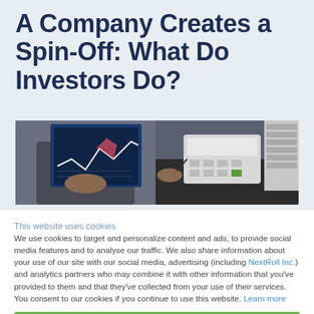A Company Creates a Spin-Off: What Do Investors Do?
[Figure (photo): Person in suit holding a financial chart/document with a calculator and laptop keyboard visible on a desk]
This website uses cookies
We use cookies to target and personalize content and ads, to provide social media features and to analyse our traffic. We also share information about your use of our site with our social media, advertising (including NextRoll Inc.) and analytics partners who may combine it with other information that you've provided to them and that they've collected from your use of their services. You consent to our cookies if you continue to use this website. Learn more
Allow
Disallow